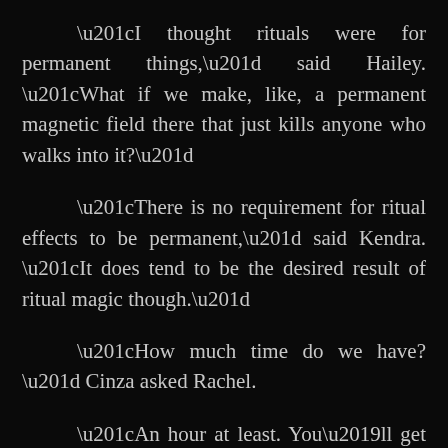“I thought rituals were for permanent things,” said Hailey. “What if we make, like, a permanent magnetic field there that just kills anyone who walks into it?”
“There is no requirement for ritual effects to be permanent,” said Kendra. “It does tend to be the desired result of ritual magic though.”
“How much time do we have?” Cinza asked Rachel.
“An hour at least. You’ll get my signal when it’s time.”